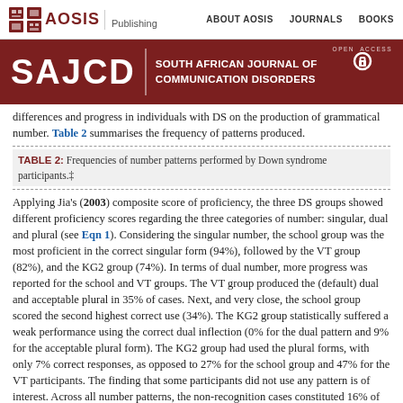AOSIS Publishing | ABOUT AOSIS | JOURNALS | BOOKS
[Figure (logo): SAJCD - South African Journal of Communication Disorders banner with AOSIS Publishing logo]
differences and progress in individuals with DS on the production of grammatical number. Table 2 summarises the frequency of patterns produced.
TABLE 2: Frequencies of number patterns performed by Down syndrome participants.‡
Applying Jia's (2003) composite score of proficiency, the three DS groups showed different proficiency scores regarding the three categories of number: singular, dual and plural (see Eqn 1). Considering the singular number, the school group was the most proficient in the correct singular form (94%), followed by the VT group (82%), and the KG2 group (74%). In terms of dual number, more progress was reported for the school and VT groups. The VT group produced the (default) dual and acceptable plural in 35% of cases. Next, and very close, the school group scored the second highest correct use (34%). The KG2 group statistically suffered a weak performance using the correct dual inflection (0% for the dual pattern and 9% for the acceptable plural form). The KG2 group had used the plural forms, with only 7% correct responses, as opposed to 27% for the school group and 47% for the VT participants. The finding that some participants did not use any pattern is of interest. Across all number patterns, the non-recognition cases constituted 16% of the cases of the three numbers; the highest percentage was scored by the KG2 group